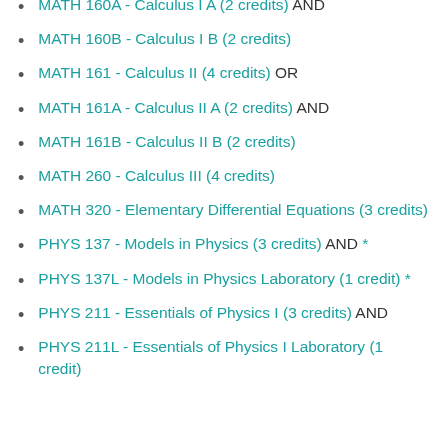MATH 160A - Calculus I A (2 credits) AND
MATH 160B - Calculus I B (2 credits)
MATH 161 - Calculus II (4 credits) OR
MATH 161A - Calculus II A (2 credits) AND
MATH 161B - Calculus II B (2 credits)
MATH 260 - Calculus III (4 credits)
MATH 320 - Elementary Differential Equations (3 credits)
PHYS 137 - Models in Physics (3 credits) AND *
PHYS 137L - Models in Physics Laboratory (1 credit) *
PHYS 211 - Essentials of Physics I (3 credits) AND
PHYS 211L - Essentials of Physics I Laboratory (1 credit)